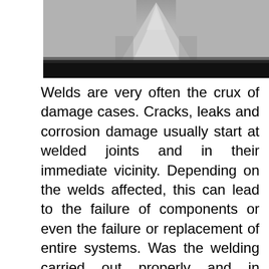[Figure (photo): Grayscale close-up photograph of a weld cross-section showing a triangular weld bead between two metal surfaces, with a dark black band at the bottom of the image.]
Welds are very often the crux of damage cases. Cracks, leaks and corrosion damage usually start at welded joints and in their immediate vicinity. Depending on the welds affected, this can lead to the failure of components or even the failure or replacement of entire systems. Was the welding carried out properly and in accordance with the state of the art? Was the execution and quality delivered as ordered? Was the chosen procedure for non-destructive testing (NDT) appropriate and was NDT carried out in accordance